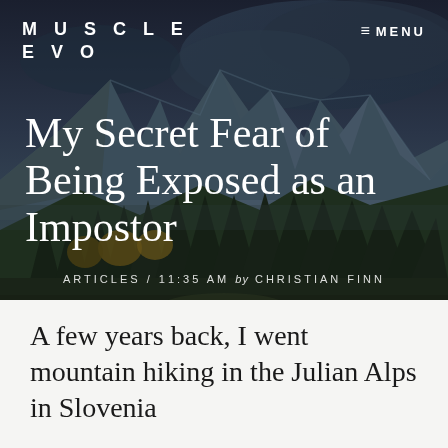MUSCLE EVO
≡ MENU
[Figure (photo): Dark moody mountain landscape with dramatic cloudy sky, forested valley, and rocky alpine peaks — Julian Alps style scenery used as hero background]
My Secret Fear of Being Exposed as an Impostor
ARTICLES / 11:35 AM by CHRISTIAN FINN
A few years back, I went mountain hiking in the Julian Alps in Slovenia